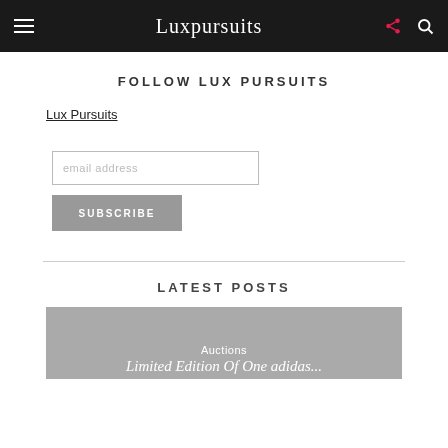Luxpursuits
FOLLOW LUX PURSUITS
Lux Pursuits
email address
SUBSCRIBE
LATEST POSTS
Auctions
Limited Edition Of One adidas...